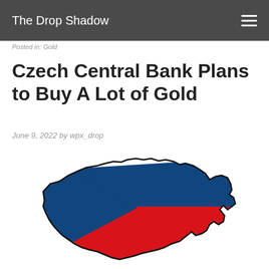The Drop Shadow
Posted in: Gold
Czech Central Bank Plans to Buy A Lot of Gold
June 9, 2022 by wpx_drop
[Figure (illustration): Map of Czech Republic outlined with the Czech flag colors — upper-left blue triangle and lower-right red half, white in between, with black outline border.]